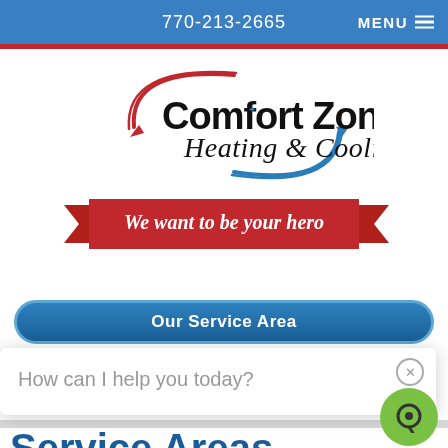770-213-2665  MENU
[Figure (logo): Comfort Zone Heating & Cooling logo with red and blue swoosh arcs and tagline ribbon 'We want to be your hero']
Our Service Area
How can I help you today?
Service Areas